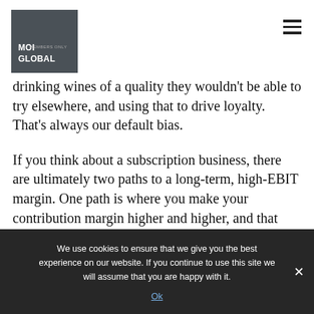[Figure (logo): MOI Global logo — dark grey square with white bold text 'MOI GLOBAL' and small grey subtitle text]
drinking wines of a quality they wouldn't be able to try elsewhere, and using that to drive loyalty. That's always our default bias.
If you think about a subscription business, there are ultimately two paths to a long-term, high-EBIT margin. One path is where you make your contribution margin higher and higher, and that
We use cookies to ensure that we give you the best experience on our website. If you continue to use this site we will assume that you are happy with it.
Ok